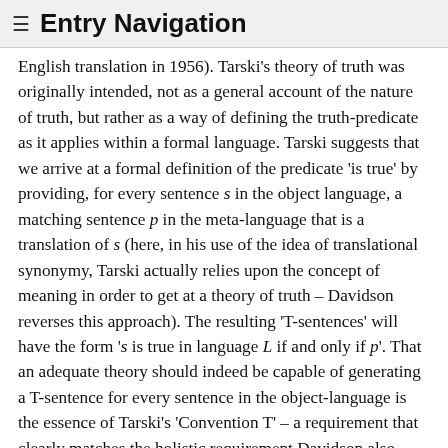≡ Entry Navigation
English translation in 1956). Tarski's theory of truth was originally intended, not as a general account of the nature of truth, but rather as a way of defining the truth-predicate as it applies within a formal language. Tarski suggests that we arrive at a formal definition of the predicate 'is true' by providing, for every sentence s in the object language, a matching sentence p in the meta-language that is a translation of s (here, in his use of the idea of translational synonymy, Tarski actually relies upon the concept of meaning in order to get at a theory of truth – Davidson reverses this approach). The resulting 'T-sentences' will have the form 's is true in language L if and only if p'. That an adequate theory should indeed be capable of generating a T-sentence for every sentence in the object-language is the essence of Tarski's 'Convention T' – a requirement that clearly matches the holistic requirement Davidson also specifies for an adequate theory of meaning. And just as a Davidsonian theory of meaning treats the meaning of whole sentences as dependent on the components of those sentences, so a Tarskian theory of